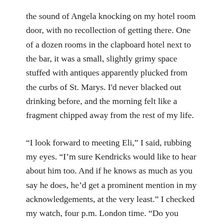the sound of Angela knocking on my hotel room door, with no recollection of getting there. One of a dozen rooms in the clapboard hotel next to the bar, it was a small, slightly grimy space stuffed with antiques apparently plucked from the curbs of St. Marys. I'd never blacked out drinking before, and the morning felt like a fragment chipped away from the rest of my life.
“I look forward to meeting Eli,” I said, rubbing my eyes. “I’m sure Kendricks would like to hear about him too. And if he knows as much as you say he does, he’d get a prominent mention in my acknowledgements, at the very least.” I checked my watch, four p.m. London time. “Do you mind if I call Kendricks?”
My cell phone worked poorly ever since leaving the